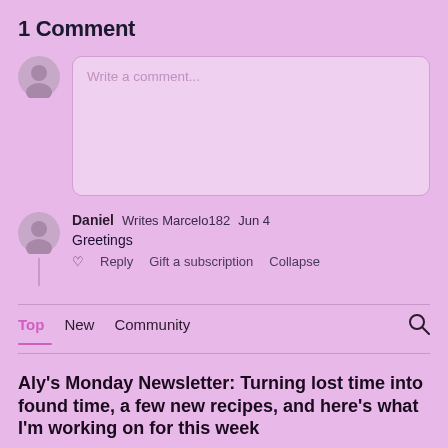1 Comment
Write a comment...
Daniel  Writes Marcelo182  Jun 4
Greetings
♡  Reply  Gift a subscription  Collapse
Top  New  Community
Aly's Monday Newsletter: Turning lost time into found time, a few new recipes, and here's what I'm working on for this week
Happy Monday! I'm so sorry for the lateness of today's email